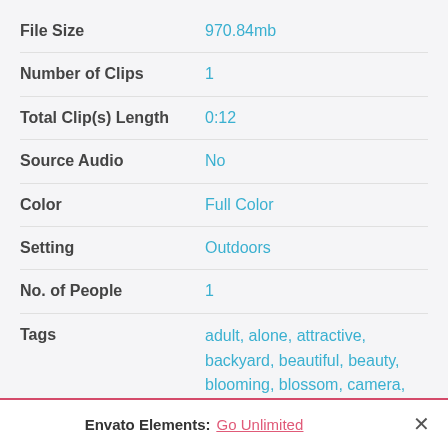| Property | Value |
| --- | --- |
| File Size | 970.84mb |
| Number of Clips | 1 |
| Total Clip(s) Length | 0:12 |
| Source Audio | No |
| Color | Full Color |
| Setting | Outdoors |
| No. of People | 1 |
| Tags | adult, alone, attractive, backyard, beautiful, beauty, blooming, blossom, camera, casual, cheerful, cute, day, enjoying, enjoyment, face, female, flower, garden, |
Envato Elements: Go Unlimited ×